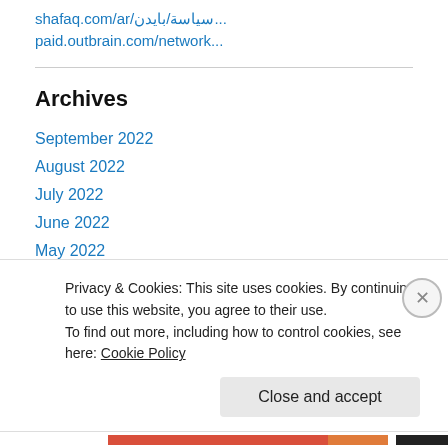shafaq.com/ar/سياسة/بايدن...
paid.outbrain.com/network...
Archives
September 2022
August 2022
July 2022
June 2022
May 2022
April 2022
March 2022
February 2022
Privacy & Cookies: This site uses cookies. By continuing to use this website, you agree to their use.
To find out more, including how to control cookies, see here: Cookie Policy
Close and accept